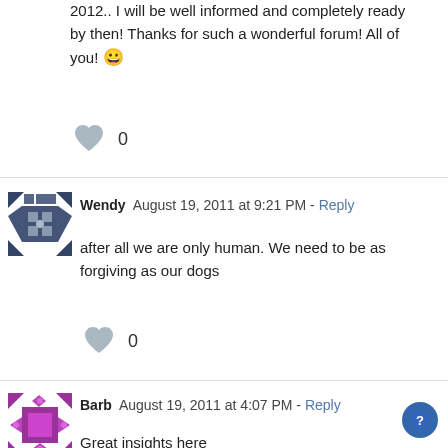2012.. I will be well informed and completely ready by then! Thanks for such a wonderful forum! All of you! 😀
[Figure (other): Heart icon with count 0 (like button)]
Wendy  August 19, 2011 at 9:21 PM - Reply
[Figure (other): User avatar for Wendy - geometric quilt pattern in dark blue/grey]
after all we are only human. We need to be as forgiving as our dogs
[Figure (other): Heart icon with count 0 (like button)]
Barb  August 19, 2011 at 4:07 PM - Reply
[Figure (other): User avatar for Barb - geometric quilt pattern in purple/magenta]
Great insights here